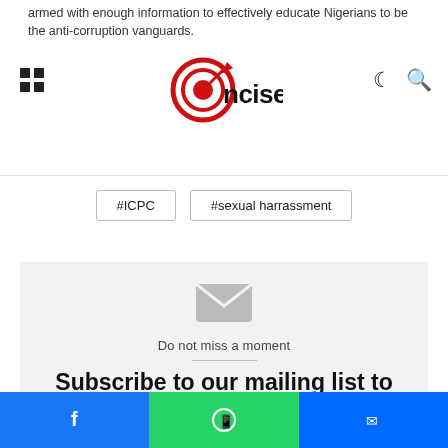armed with enough information to effectively educate Nigerians to be the anti-corruption vanguards.
[Figure (logo): Concise news logo with target/bullseye icon in red and text 'Concise']
#ICPC
#sexual harrassment
[Figure (illustration): Grey envelope/mail icon]
Do not miss a moment
Subscribe to our mailing list to get the new updates!
[Figure (infographic): Social share bar with Facebook, WhatsApp, and Messenger buttons]